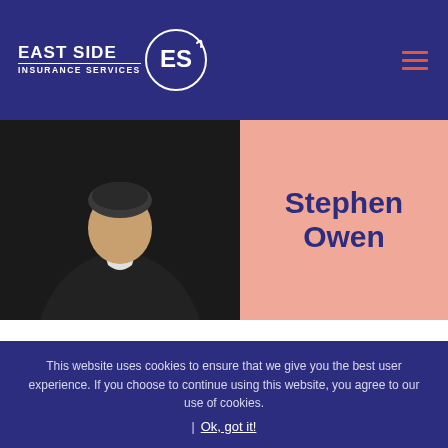[Figure (logo): East Side Insurance Services logo with text and circular ES icon on navy background]
[Figure (photo): Profile photo of Stephen Owen wearing dark clothing on left side, with peach/salmon background showing name on right side]
Stephen Owen
PROPERTY OWNER CONSULTANT
stephen@eastsideinsurance.co.uk
This website uses cookies to ensure that we give you the best user experience. If you choose to continue using this website, you agree to our use of cookies.
Ok, got it!